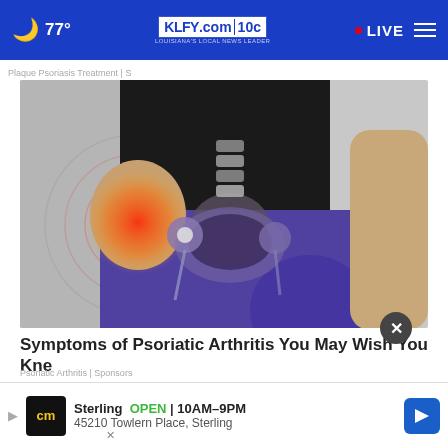🌙 77° | KLFY.com | 10 | • LIVE
Plaque Psoriasis Treatment | S
[Figure (photo): Medical illustration showing a person in black shirt and purple leggings, with an x-ray/anatomical overlay of the hip joint and pelvis area highlighted in red with concentric circles indicating pain]
Symptoms of Psoriatic Arthritis You May Wish You Knew...
Sterling  OPEN  10AM–9PM
45210 Towlern Place, Sterling
Psoriatic Arthritis | Sponsors